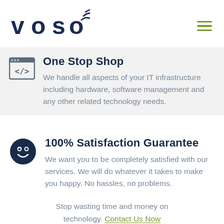[Figure (logo): VOSO logo with wifi/signal arc icon above the letter O, in dark navy blue text]
[Figure (other): Hamburger menu icon with two horizontal lines in olive/yellow-green color]
One Stop Shop
We handle all aspects of your IT infrastructure including hardware, software management and any other related technology needs.
100% Satisfaction Guarantee
We want you to be completely satisfied with our services. We will do whatever it takes to make you happy. No hassles, no problems.
Stop wasting time and money on technology. Contact Us Now